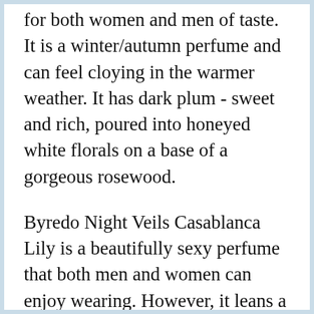for both women and men of taste. It is a winter/autumn perfume and can feel cloying in the warmer weather. It has dark plum - sweet and rich, poured into honeyed white florals on a base of a gorgeous rosewood.
Byredo Night Veils Casablanca Lily is a beautifully sexy perfume that both men and women can enjoy wearing. However, it leans a lot more towards the feminine side and is fit for occasional wear in the evenings of colder weather.